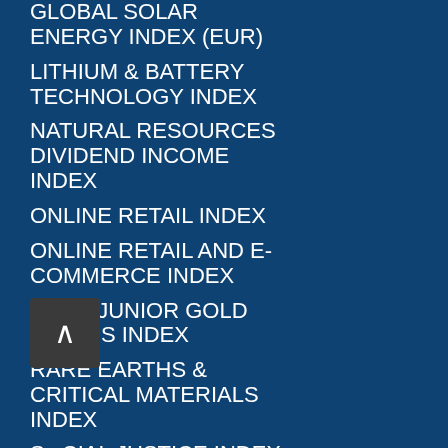GLOBAL SOLAR ENERGY INDEX (EUR)
LITHIUM & BATTERY TECHNOLOGY INDEX
NATURAL RESOURCES DIVIDEND INCOME INDEX
ONLINE RETAIL INDEX
ONLINE RETAIL AND E-COMMERCE INDEX
PURE JUNIOR GOLD MINERS INDEX
RARE EARTHS & CRITICAL MATERIALS INDEX
SOCIAL JUSTICE INDEX
XOUT U.S. LARGE CAP INDEX